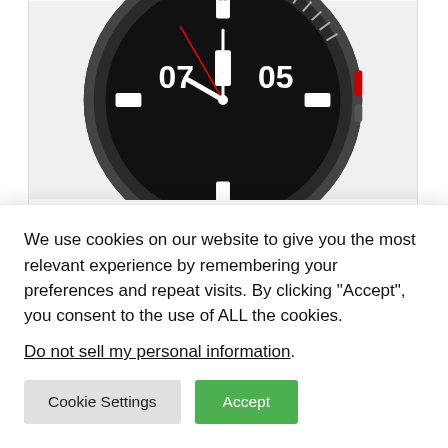[Figure (photo): Close-up photo of a Samsung Galaxy Watch 3 showing the watch face with numbers 07 and 05 on a dark dial, rotating bezel, and red accent button on the side.]
SMART WATCH
Samsung Galaxy Watch rotating bezel to vanish completely?
Senior Detector - 12/06/2022
[Figure (photo): Partial view of a second article card showing a blurred product image with red accent.]
We use cookies on our website to give you the most relevant experience by remembering your preferences and repeat visits. By clicking “Accept”, you consent to the use of ALL the cookies.
Do not sell my personal information.